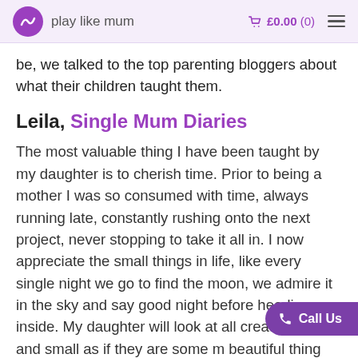play like mum  £0.00 (0)
be, we talked to the top parenting bloggers about what their children taught them.
Leila, Single Mum Diaries
The most valuable thing I have been taught by my daughter is to cherish time. Prior to being a mother I was so consumed with time, always running late, constantly rushing onto the next project, never stopping to take it all in. I now appreciate the small things in life, like every single night we go to find the moon, we admire it in the sky and say good night before heading inside. My daughter will look at all creatures great and small as if they are some m beautiful thing from ladybugs to ants and we